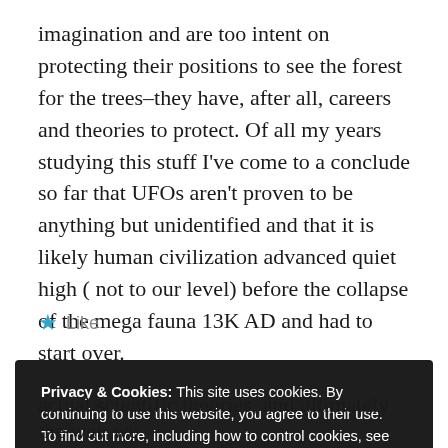imagination and are too intent on protecting their positions to see the forest for the trees–they have, after all, careers and theories to protect. Of all my years studying this stuff I've come to a conclude so far that UFOs aren't proven to be anything but unidentified and that it is likely human civilization advanced quiet high ( not to our level) before the collapse of the mega fauna 13K AD and had to start over.
★ Like
Privacy & Cookies: This site uses cookies. By continuing to use this website, you agree to their use.
To find out more, including how to control cookies, see here:
Cookie Policy

Close and accept
actual scientific theories, and ultimately the way we